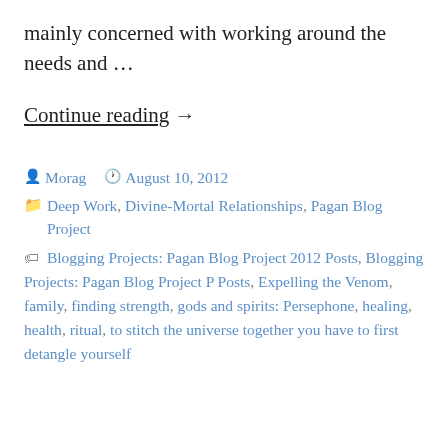mainly concerned with working around the needs and …
Continue reading →
Posted by Morag   August 10, 2012
Categories: Deep Work, Divine-Mortal Relationships, Pagan Blog Project
Tags: Blogging Projects: Pagan Blog Project 2012 Posts, Blogging Projects: Pagan Blog Project P Posts, Expelling the Venom, family, finding strength, gods and spirits: Persephone, healing, health, ritual, to stitch the universe together you have to first detangle yourself